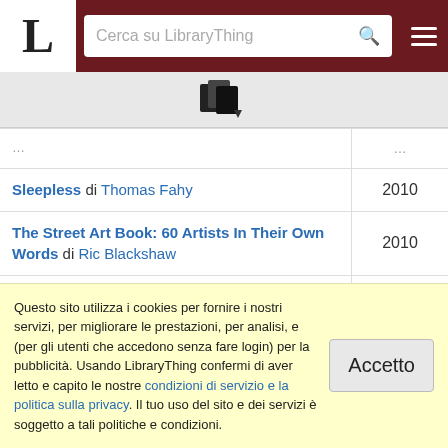LibraryThing - Cerca su LibraryThing
[Figure (logo): LibraryThing logo with letter L and book icon]
| Titolo | Anno |
| --- | --- |
| Sleepless di Thomas Fahy | 2010 |
| The Street Art Book: 60 Artists In Their Own Words di Ric Blackshaw | 2010 |
| Street Art San Francisco: Mission Muralismo di Annice Jacoby | 2010 |
| Stuff on My Mutt di Mario Garza | 2010 |
| Subway Art di Martha Cooper | 2010 |
| Taken di Norah McClintock | 2010 |
Questo sito utilizza i cookies per fornire i nostri servizi, per migliorare le prestazioni, per analisi, e (per gli utenti che accedono senza fare login) per la pubblicità. Usando LibraryThing confermi di aver letto e capito le nostre condizioni di servizio e la politica sulla privacy. Il tuo uso del sito e dei servizi è soggetto a tali politiche e condizioni.